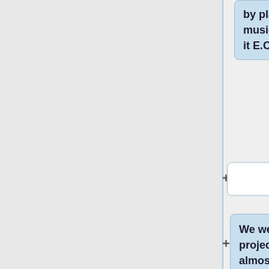by playing a certain music playlist. We called it E.Cloudy.
We went critical on this project. We looked at almost every aspect of what could go wrong with it and what could become popular. We listed it out and I think this really helped us sort out the project. In the end it worked